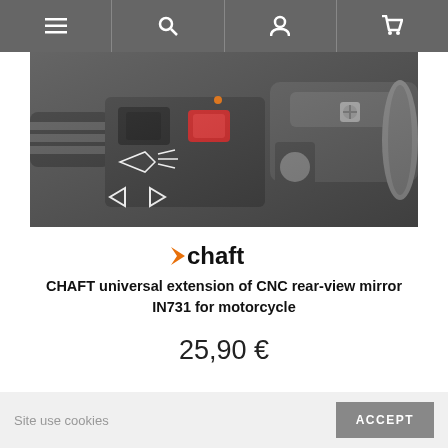Navigation bar with menu, search, account, and cart icons
[Figure (photo): Close-up photo of motorcycle handlebar controls showing switches, a red button, turn signal indicators, and brake/throttle assembly]
[Figure (logo): Chaft brand logo with orange arrow and black text]
CHAFT universal extension of CNC rear-view mirror IN731 for motorcycle
25,90 €
Add to cart
Site use cookies  ACCEPT